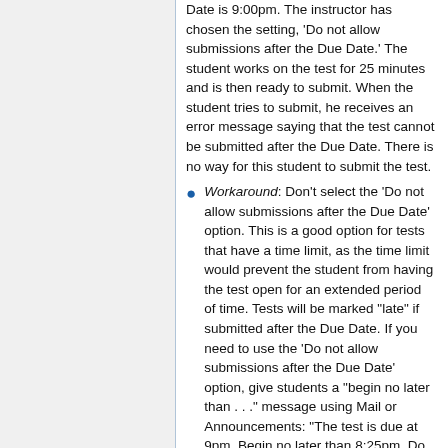Date is 9:00pm. The instructor has chosen the setting, 'Do not allow submissions after the Due Date.' The student works on the test for 25 minutes and is then ready to submit. When the student tries to submit, he receives an error message saying that the test cannot be submitted after the Due Date. There is no way for this student to submit the test.
Workaround: Don't select the 'Do not allow submissions after the Due Date' option. This is a good option for tests that have a time limit, as the time limit would prevent the student from having the test open for an extended period of time. Tests will be marked "late" if submitted after the Due Date. If you need to use the 'Do not allow submissions after the Due Date' option, give students a "begin no later than . . ." message using Mail or Announcements: "The test is due at 9pm. Begin no later than 8:25pm. Do not begin later than that as it will result in the inability to submit the test if the Due Date